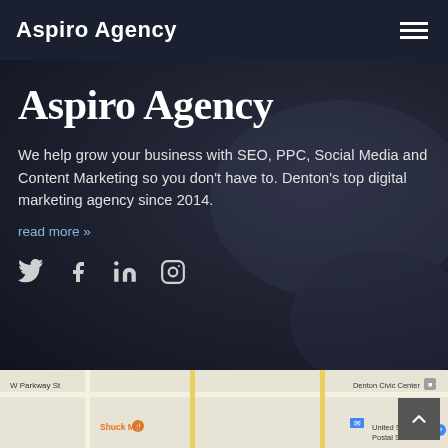Aspiro Agency
Aspiro Agency
We help grow your business with SEO, PPC, Social Media and Content Marketing so you don't have to. Denton's top digital marketing agency since 2014.
read more »
[Figure (infographic): Social media icons: Twitter, Facebook, LinkedIn, Instagram]
[Figure (map): Google Maps embed showing Denton area with W Parkway St, Denton Civic Center, Shuck Me restaurant, and United States Postal Service visible]